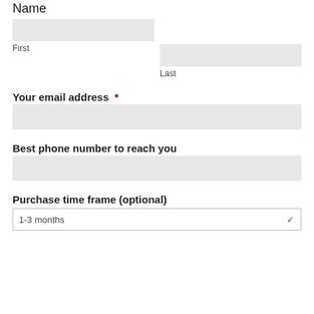Name
First
Last
Your email address *
Best phone number to reach you
Purchase time frame (optional)
1-3 months